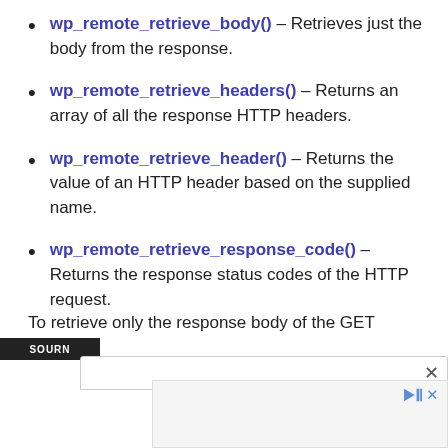wp_remote_retrieve_body() – Retrieves just the body from the response.
wp_remote_retrieve_headers() – Returns an array of all the response HTTP headers.
wp_remote_retrieve_header() – Returns the value of an HTTP header based on the supplied name.
wp_remote_retrieve_response_code() – Returns the response status codes of the HTTP request.
To retrieve only the response body of the GET